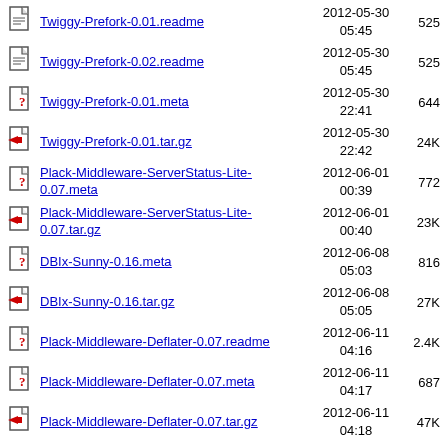Twiggy-Prefork-0.01.readme  2012-05-30 05:45  525
Twiggy-Prefork-0.02.readme  2012-05-30 05:45  525
Twiggy-Prefork-0.01.meta  2012-05-30 22:41  644
Twiggy-Prefork-0.01.tar.gz  2012-05-30 22:42  24K
Plack-Middleware-ServerStatus-Lite-0.07.meta  2012-06-01 00:39  772
Plack-Middleware-ServerStatus-Lite-0.07.tar.gz  2012-06-01 00:40  23K
DBIx-Sunny-0.16.meta  2012-06-08 05:03  816
DBIx-Sunny-0.16.tar.gz  2012-06-08 05:05  27K
Plack-Middleware-Deflater-0.07.readme  2012-06-11 04:16  2.4K
Plack-Middleware-Deflater-0.07.meta  2012-06-11 04:17  687
Plack-Middleware-Deflater-0.07.tar.gz  2012-06-11 04:18  47K